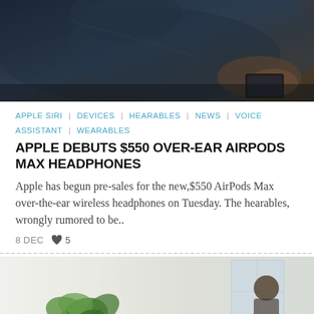[Figure (photo): Dark moody photo of a person lying down using a device, dimly lit with blue-dark tones]
APPLE SIRI | DEVICES | HEARABLES | NEWS | VOICE ASSISTANT | WEARABLES
APPLE DEBUTS $550 OVER-EAR AIRPODS MAX HEADPHONES
Apple has begun pre-sales for the new,$550 AirPods Max over-the-ear wireless headphones on Tuesday. The hearables, wrongly rumored to be..
8 DEC  ♥ 5
[Figure (photo): Bright airy room with a person, a plant with green leaves, and a window with natural light]